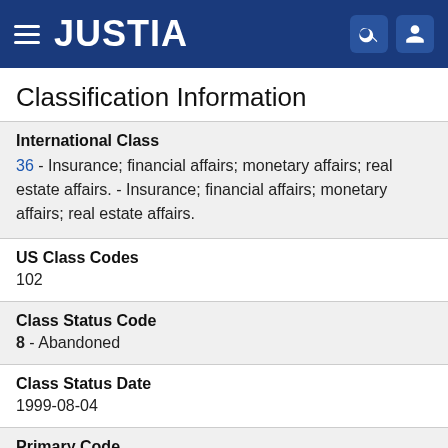JUSTIA
Classification Information
International Class
36 - Insurance; financial affairs; monetary affairs; real estate affairs. - Insurance; financial affairs; monetary affairs; real estate affairs.
US Class Codes
102
Class Status Code
8 - Abandoned
Class Status Date
1999-08-04
Primary Code